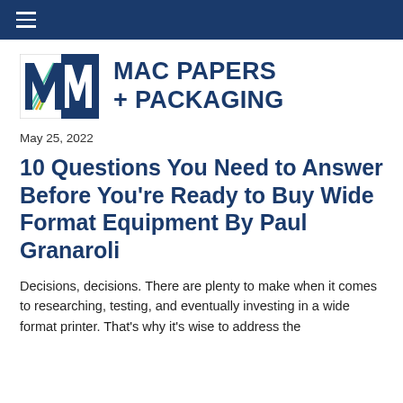≡
[Figure (logo): Mac Papers + Packaging logo with stylized M mark in navy blue and colorful diagonal lines]
May 25, 2022
10 Questions You Need to Answer Before You're Ready to Buy Wide Format Equipment By Paul Granaroli
Decisions, decisions. There are plenty to make when it comes to researching, testing, and eventually investing in a wide format printer. That's why it's wise to address the